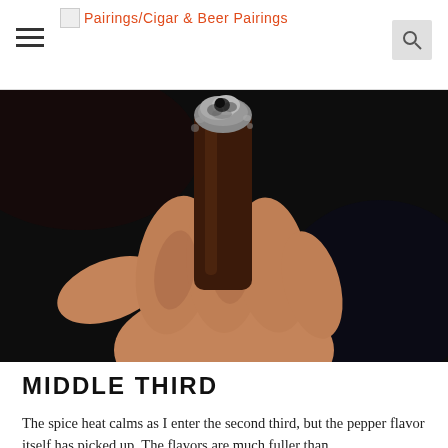Pairings/Cigar & Beer Pairings
[Figure (photo): Close-up photo of a hand holding a partially smoked cigar, showing the lit ash end with gray and black coloring, against a dark background.]
MIDDLE THIRD
The spice heat calms as I enter the second third, but the pepper flavor itself has picked up. The flavors are much fuller than